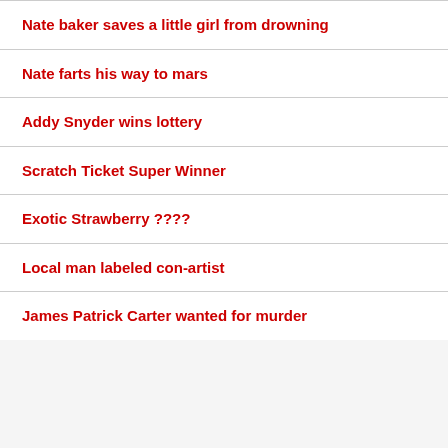Nate baker saves a little girl from drowning
Nate farts his way to mars
Addy Snyder wins lottery
Scratch Ticket Super Winner
Exotic Strawberry ????
Local man labeled con-artist
James Patrick Carter wanted for murder